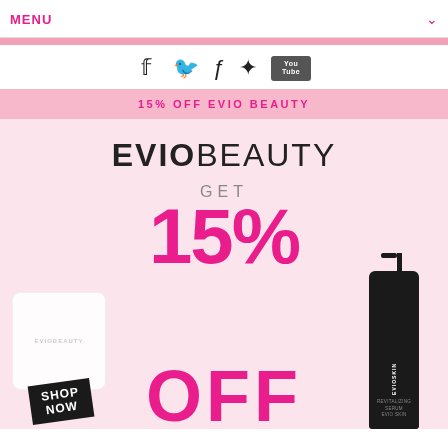MENU
[Figure (illustration): Social media icons: Facebook, Twitter, Instagram, Pinterest, YouTube]
15% OFF EVIO BEAUTY
[Figure (infographic): Evio Beauty promotional banner: EVIOBEAUTY logo, GET 15% OFF text, product bag with SHOP NOW badge on left, skincare bottle on right]
EVIOBEAUTY
GET 15% OFF